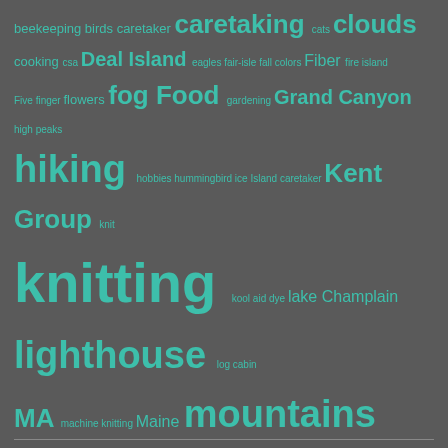[Figure (infographic): Tag cloud with teal-colored words on a dark gray background, showing various blog/website tags at different font sizes indicating frequency. Tags include: beekeeping, birds, caretaker, caretaking, cats, clouds, cooking, csa, Deal Island, eagles, fair-isle, fall colors, Fiber, fire island, Five finger, flowers, fog, Food, gardening, Grand Canyon, high peaks, hiking, hobbies, hummingbird, ice, Island caretaker, Kent Group, knit, knitting, kool aid dye, lake Champlain, lighthouse, log cabin, MA, machine knitting, Maine, mountains, muse, nature, photography, photos, protection island, quilt, Quilting, rainbow, rainbows, sailing, Salem, seagulls, seals, Seguin, Seguin Island, Seguin Island Lighthouse, sewing, skiing, snow, Spinning, StarCraft, sunrise, Sunset, Tablet, weaving, Tasmania, travel, Weather, weaving, winter]